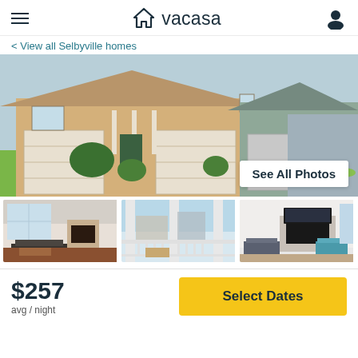vacasa
< View all Selbyville homes
[Figure (photo): Exterior view of a suburban vacation home with tan/yellow siding, green accents, two-car garage, landscaped front yard, and neighboring houses visible. 'See All Photos' button overlay.]
[Figure (photo): Interior living room with fireplace and dark wood floors]
[Figure (photo): Porch or deck area with white railings and outdoor furniture]
[Figure (photo): Interior living room with large TV mounted above fireplace]
$257
avg / night
Select Dates